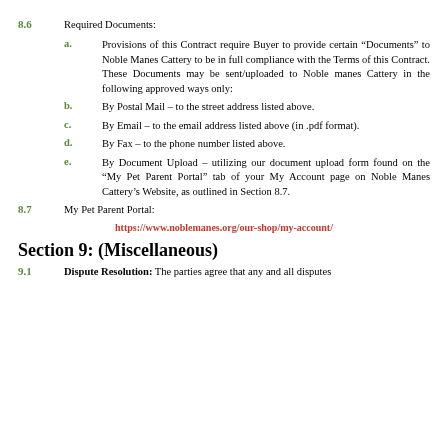8.6	Required Documents:
a. Provisions of this Contract require Buyer to provide certain “Documents” to Noble Manes Cattery to be in full compliance with the Terms of this Contract. These Documents may be sent/uploaded to Noble manes Cattery in the following approved ways only:
b. By Postal Mail – to the street address listed above.
c. By Email – to the email address listed above (in .pdf format).
d. By Fax – to the phone number listed above.
e. By Document Upload – utilizing our document upload form found on the “My Pet Parent Portal” tab of your My Account page on Noble Manes Cattery’s Website, as outlined in Section 8.7.
8.7	My Pet Parent Portal:
https://www.noblemanes.org/our-shop/my-account/
Section 9: (Miscellaneous)
9.1	Dispute Resolution: The parties agree that any and all disputes